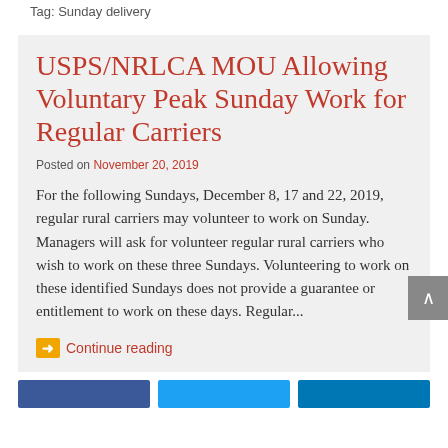Tag: Sunday delivery
USPS/NRLCA MOU Allowing Voluntary Peak Sunday Work for Regular Carriers
Posted on November 20, 2019
For the following Sundays, December 8, 17 and 22, 2019, regular rural carriers may volunteer to work on Sunday. Managers will ask for volunteer regular rural carriers who wish to work on these three Sundays. Volunteering to work on these identified Sundays does not provide a guarantee or entitlement to work on these days. Regular...
Continue reading